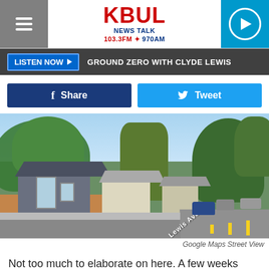[Figure (screenshot): KBUL News Talk 103.3FM 970AM website header with hamburger menu, logo, and play button]
GROUND ZERO WITH CLYDE LEWIS
[Figure (other): Facebook Share and Twitter Tweet social sharing buttons]
[Figure (photo): Google Maps Street View of Lewis Ave showing residential houses and road]
Google Maps Street View
Not too much to elaborate on here. A few weeks back I